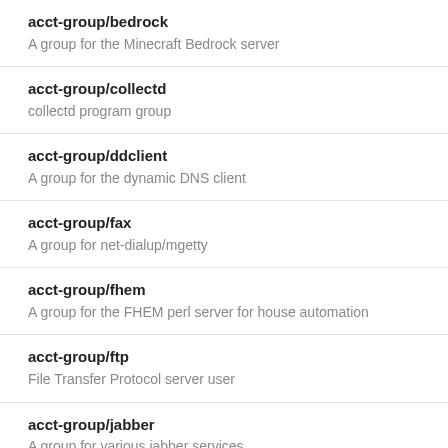acct-group/bedrock
A group for the Minecraft Bedrock server
acct-group/collectd
collectd program group
acct-group/ddclient
A group for the dynamic DNS client
acct-group/fax
A group for net-dialup/mgetty
acct-group/fhem
A group for the FHEM perl server for house automation
acct-group/ftp
File Transfer Protocol server user
acct-group/jabber
A group for various jabber services
acct-group/minecraft